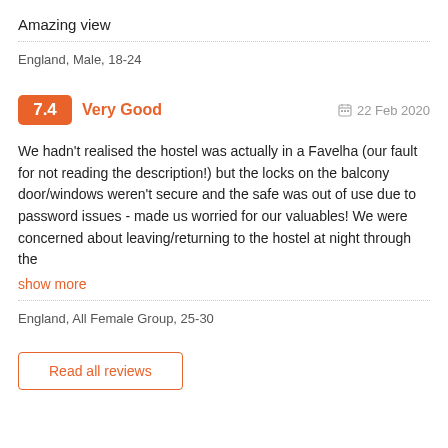Amazing view
England, Male, 18-24
7.4 Very Good   22 Feb 2020
We hadn't realised the hostel was actually in a Favelha (our fault for not reading the description!) but the locks on the balcony door/windows weren't secure and the safe was out of use due to password issues - made us worried for our valuables! We were concerned about leaving/returning to the hostel at night through the
show more
England, All Female Group, 25-30
Read all reviews